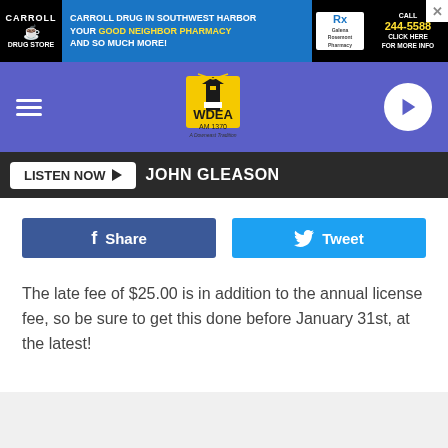[Figure (screenshot): Carroll Drug Store advertisement banner — 'Carroll Drug in Southwest Harbor your Good Neighbor Pharmacy and so much more!' with phone number CALL 244-5588 and CLICK HERE FOR MORE INFO]
[Figure (logo): WDEA AM 1370 radio station logo — lighthouse graphic with yellow background, tagline A Downeast Tradition]
LISTEN NOW ▶   JOHN GLEASON
f  Share
Tweet
The late fee of $25.00 is in addition to the annual license fee, so be sure to get this done before January 31st, at the latest!